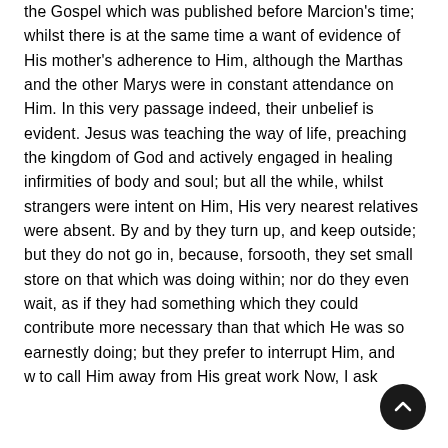the Gospel which was published before Marcion's time; whilst there is at the same time a want of evidence of His mother's adherence to Him, although the Marthas and the other Marys were in constant attendance on Him. In this very passage indeed, their unbelief is evident. Jesus was teaching the way of life, preaching the kingdom of God and actively engaged in healing infirmities of body and soul; but all the while, whilst strangers were intent on Him, His very nearest relatives were absent. By and by they turn up, and keep outside; but they do not go in, because, forsooth, they set small store on that which was doing within; nor do they even wait, as if they had something which they could contribute more necessary than that which He was so earnestly doing; but they prefer to interrupt Him, and wish to call Him away from His great work Now, I ask